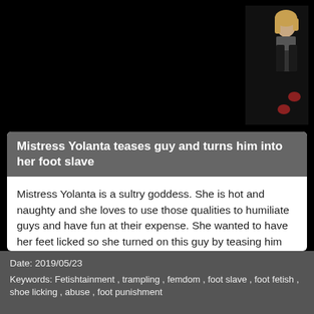[Figure (photo): Website screenshot with a photo of a woman in the top right corner on a black background]
Mistress Yolanta teases guy and turns him into her foot slave
Mistress Yolanta is a sultry goddess. She is hot and naughty and she loves to use those qualities to humiliate guys and have fun at their expense. She wanted to have her feet licked so she turned on this guy by teasing him and once he was putty in her hands, she relaxed and had fun watching him do what she asked him to do. He licked her feet beautifully and she had a footgasm.
Buy this video at Yoogirls.com now!
Date: 2019/05/23
Keywords: Fetishtainment , trampling , femdom , foot slave , foot fetish ,
shoe licking , abuse , foot punishment